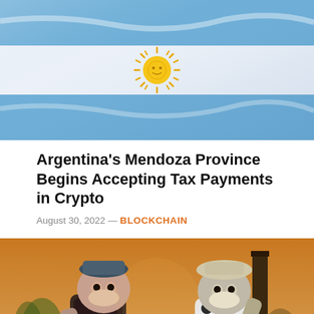[Figure (photo): Argentina national flag with blue and white horizontal stripes and golden sun emblem in the center, waving with fabric folds visible]
Argentina's Mendoza Province Begins Accepting Tax Payments in Crypto
August 30, 2022 — BLOCKCHAIN
[Figure (illustration): Digital illustration showing two cartoon ape characters (Bored Ape Yacht Club NFT style) in a warm sunset scene, one wearing a military-style hat and dark outfit, the other wearing a spotted pattern outfit and bucket hat]